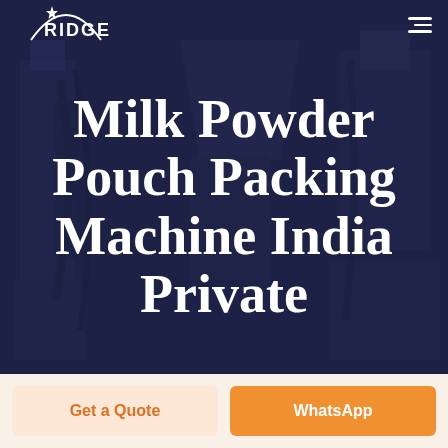[Figure (photo): Background photo of industrial packaging machinery, overlaid with dark navy/purple tint. Shows automated milk powder pouch packing equipment.]
RIDGE (logo with star and arc graphic)
Milk Powder Pouch Packing Machine India Private
Get a Quote
WhatsApp